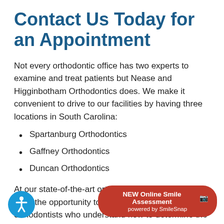Contact Us Today for an Appointment
Not every orthodontic office has two experts to examine and treat patients but Nease and Higginbotham Orthodontics does. We make it convenient to drive to our facilities by having three locations in South Carolina:
Spartanburg Orthodontics
Gaffney Orthodontics
Duncan Orthodontics
At our state-of-the-art orthodontic facility, patients have the opportunity to meet with two qualified orthodontists who understand how to determine the most appropriate course of action to treat unsightly misaligned teeth. Schedule an appointment with a telephone call or online form to
[Figure (other): Accessibility icon button (blue circle with white person/wheelchair symbol)]
[Figure (other): Red pill-shaped button reading 'NEW Online Smile Assessment' with camera icon and 'powered by SmileSnap' subtitle]